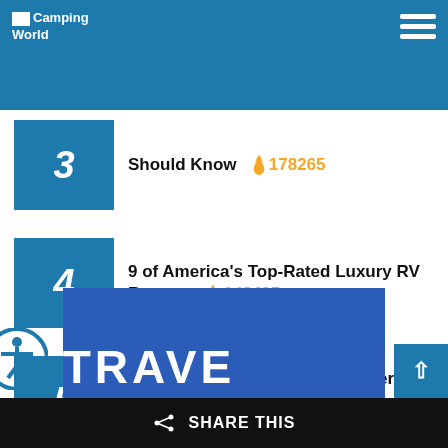Camping World
3 Should Know 🔥 178265
4 9 of America's Top-Rated Luxury RV Resorts 🔥 148485
5 How to Turn Your RV Into the Perfect Adventure Sports Basecamp 🔥 141269
[Figure (screenshot): Blue banner partially visible at bottom]
SHARE THIS